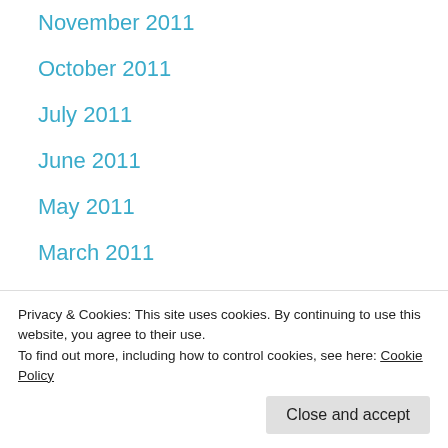November 2011
October 2011
July 2011
June 2011
May 2011
March 2011
February 2011
December 2010
November 2010
October 2010 (partial)
Privacy & Cookies: This site uses cookies. By continuing to use this website, you agree to their use.
To find out more, including how to control cookies, see here: Cookie Policy
June 2010 (partial)